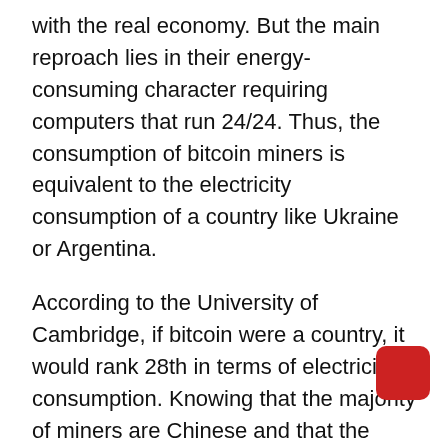with the real economy. But the main reproach lies in their energy-consuming character requiring computers that run 24/24. Thus, the consumption of bitcoin miners is equivalent to the electricity consumption of a country like Ukraine or Argentina.
According to the University of Cambridge, if bitcoin were a country, it would rank 28th in terms of electricity consumption. Knowing that the majority of miners are Chinese and that the majority of electricity produced in China comes from coal, it is possible to deduce the environmental impact of crypto-currencies.
However, the use of renewable energy such as